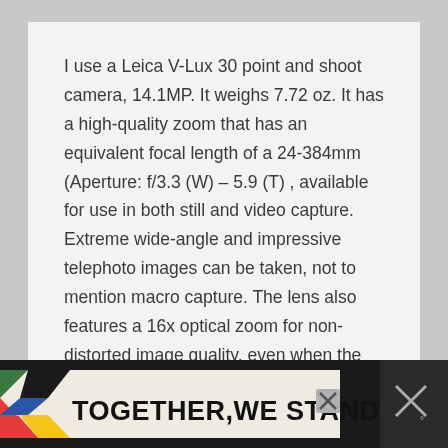I use a Leica V-Lux 30 point and shoot camera, 14.1MP. It weighs 7.72 oz. It has a high-quality zoom that has an equivalent focal length of a 24-384mm (Aperture: f/3.3 (W) – 5.9 (T) , available for use in both still and video capture. Extreme wide-angle and impressive telephoto images can be taken, not to mention macro capture. The lens also features a 16x optical zoom for non-distorted image quality, even when the frame is shot from extremely close-up. I continue to be impressed with this little camera!
[Figure (other): Advertisement banner at the bottom: dark background with colorful shapes on left, cream/beige center with bold text 'TOGETHER,WE STAND', a close button (X), and a dark panel on the right with an X and degree symbol.]